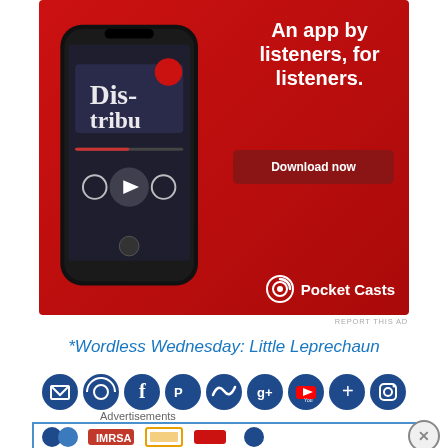[Figure (illustration): Pocket Casts app advertisement on red background with smartphone showing podcast app and text 'An app by listeners, for listeners.' with Download now button]
REPORT THIS AD
*Wordless Wednesday: Little Leprechaun
[Figure (illustration): Row of social media icon buttons: email, RSS, Facebook, Pinterest, Twitter, Google+, YouTube, plus, Instagram]
[Figure (illustration): Partial banner ad with blue border and social/sharing icons, with close X button]
Advertisements
[Figure (illustration): Bloomingdales advertisement: bloomingdales logo, 'View Today's Top Deals!' text, woman with hat, SHOP NOW button]